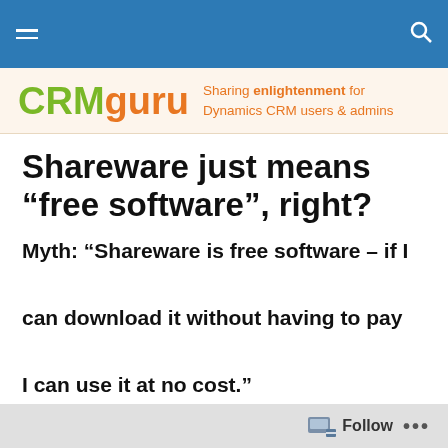CRMguru — navigation bar with hamburger menu and search icon
[Figure (logo): CRMguru logo with tagline: Sharing enlightenment for Dynamics CRM users & admins]
Shareware just means “free software”, right?
Myth: “Shareware is free software – if I can download it without having to pay I can use it at no cost.”
Follow  ...